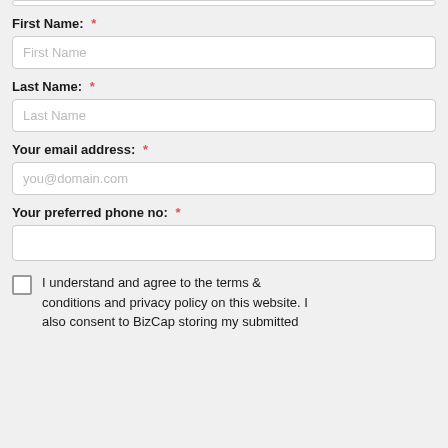First Name: *
[Figure (screenshot): First Name input field with placeholder text 'First Name']
Last Name: *
[Figure (screenshot): Last Name input field with placeholder text 'Last Name']
Your email address: *
[Figure (screenshot): Email input field with placeholder text 'you@domain.com']
Your preferred phone no: *
[Figure (screenshot): Phone number input field, empty]
I understand and agree to the terms & conditions and privacy policy on this website. I also consent to BizCap storing my submitted